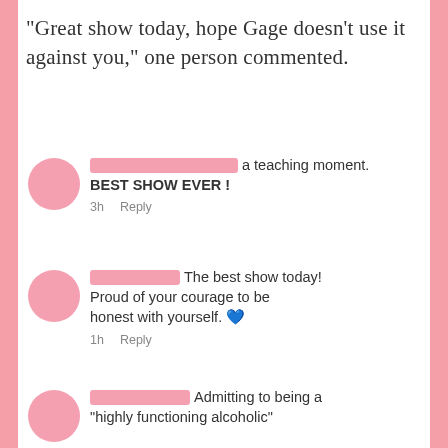“Great show today, hope Gage doesn’t use it against you,” one person commented.
[Figure (screenshot): Social media comment with pink avatar circle, redacted pink name bar, and text: 'a teaching moment. BEST SHOW EVER!' with timestamp '3h Reply']
[Figure (screenshot): Social media comment with pink avatar circle, redacted pink name bar, and text: 'The best show today! Proud of your courage to be honest with yourself. 💙' with timestamp '1h Reply']
[Figure (screenshot): Social media comment with pink avatar circle, redacted pink name bar, and partial text: 'Admitting to being a "highly functioning alcoholic"']